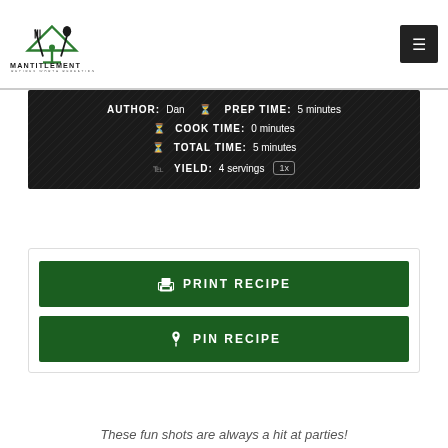[Figure (logo): Mantitlement logo with green martini glass and crossed fork/spoon, text MANTITLEMENT RECIPES WORTH REPEATING]
AUTHOR: Dan   PREP TIME: 5 minutes
COOK TIME: 0 minutes
TOTAL TIME: 5 minutes
YIELD: 4 servings 1x
PRINT RECIPE
PIN RECIPE
These fun shots are always a hit at parties!